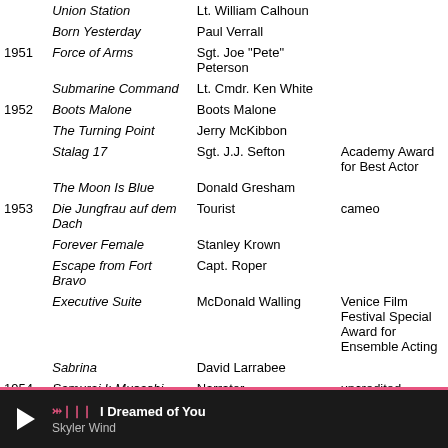| Year | Film | Role | Notes |
| --- | --- | --- | --- |
|  | Union Station | Lt. William Calhoun |  |
|  | Born Yesterday | Paul Verrall |  |
| 1951 | Force of Arms | Sgt. Joe "Pete" Peterson |  |
|  | Submarine Command | Lt. Cmdr. Ken White |  |
| 1952 | Boots Malone | Boots Malone |  |
|  | The Turning Point | Jerry McKibbon |  |
|  | Stalag 17 | Sgt. J.J. Sefton | Academy Award for Best Actor |
|  | The Moon Is Blue | Donald Gresham |  |
| 1953 | Die Jungfrau auf dem Dach | Tourist | cameo |
|  | Forever Female | Stanley Krown |  |
|  | Escape from Fort Bravo | Capt. Roper |  |
|  | Executive Suite | McDonald Walling | Venice Film Festival Special Award for Ensemble Acting |
|  | Sabrina | David Larrabee |  |
| 1954 | Samurai I: Musashi | Narrator | uncredited |
I Dreamed of You — Skyler Wind (media player)